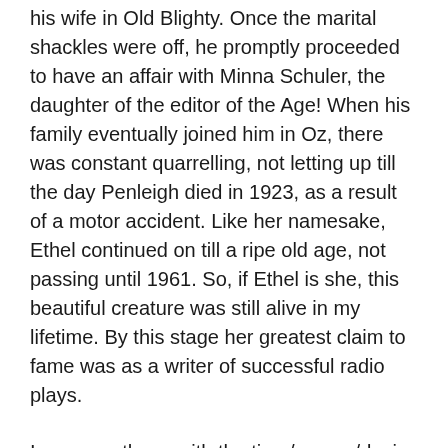his wife in Old Blighty. Once the marital shackles were off, he promptly proceeded to have an affair with Minna Schuler, the daughter of the editor of the Age! When his family eventually joined him in Oz, there was constant quarrelling, not letting up till the day Penleigh died in 1923, as a result of a motor accident. Like her namesake, Ethel continued on till a ripe old age, not passing until 1961. So, if Ethel is she, this beautiful creature was still alive in my lifetime. By this stage her greatest claim to fame was as a writer of successful radio plays.
I suppose those with the time/money/desire could more forensically examine the sources and deduce whether I am on the right track or otherwise. For now, though, that sun dappled goddess of 'The Bathers' is, for me, Ethel Boyd nee Anderson. She was from a time that has now long passed, but I'll always remember seeing her hung on that wall as if it were yesterday. I do wonder if the two Ethels were friends, or at least remained in contact down through the